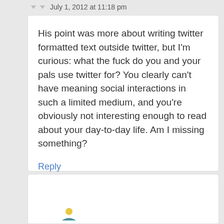July 1, 2012 at 11:18 pm
His point was more about writing twitter formatted text outside twitter, but I’m curious: what the fuck do you and your pals use twitter for? You clearly can’t have meaning social interactions in such a limited medium, and you’re obviously not interesting enough to read about your day-to-day life. Am I missing something?
Reply